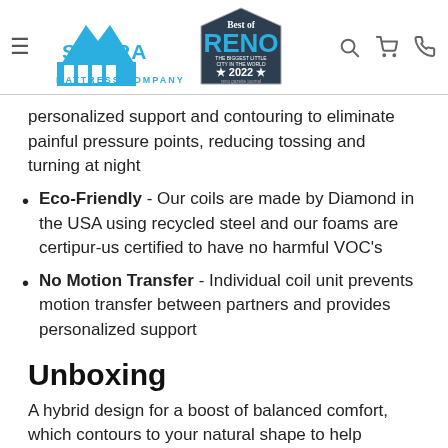[Figure (logo): Sierra Mattress Company logo with mountain graphic in blue, and Best of Reno 2022 badge]
personalized support and contouring to eliminate painful pressure points, reducing tossing and turning at night
Eco-Friendly - Our coils are made by Diamond in the USA using recycled steel and our foams are certipur-us certified to have no harmful VOC's
No Motion Transfer - Individual coil unit prevents motion transfer between partners and provides personalized support
Unboxing
A hybrid design for a boost of balanced comfort, which contours to your natural shape to help achieve a